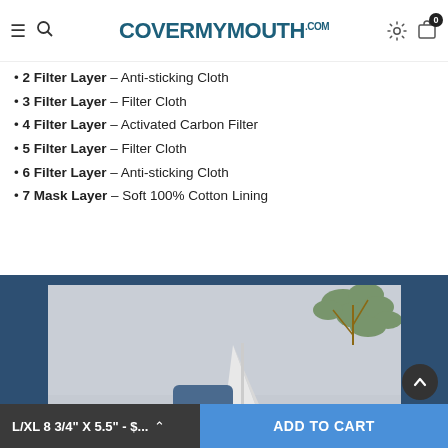CoverMyMouth.com
2 Filter Layer – Anti-sticking Cloth
3 Filter Layer – Filter Cloth
4 Filter Layer – Activated Carbon Filter
5 Filter Layer – Filter Cloth
6 Filter Layer – Anti-sticking Cloth
7 Mask Layer – Soft 100% Cotton Lining
[Figure (photo): Photo of a person wearing a mask and blue hat, outdoors with trees and a white tent/umbrella in the background, displayed within a navy blue section.]
L/XL 8 3/4" X 5.5" - $...   ADD TO CART